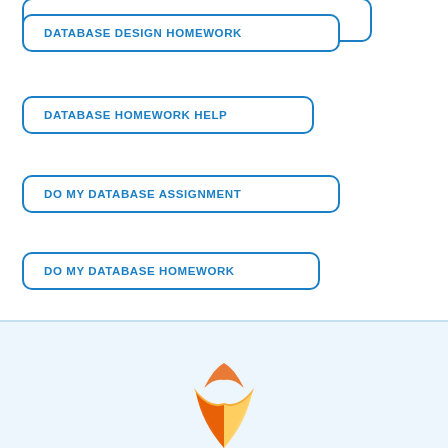DATABASE DESIGN HOMEWORK
DATABASE HOMEWORK HELP
DO MY DATABASE ASSIGNMENT
DO MY DATABASE HOMEWORK
MYSQL ASSIGNMENT HELP
PAY SOMEONE TO DO DATABASE HOMEWORK
PROGRAMMING ASSIGNMENT HELP
[Figure (logo): Colorful logo partially visible at bottom of page with orange, red, and yellow segments]